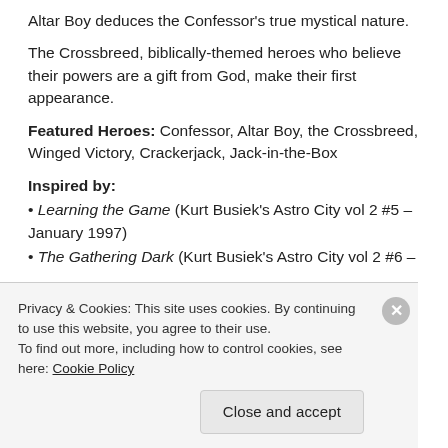Altar Boy deduces the Confessor's true mystical nature.
The Crossbreed, biblically-themed heroes who believe their powers are a gift from God, make their first appearance.
Featured Heroes:  Confessor, Altar Boy, the Crossbreed, Winged Victory, Crackerjack, Jack-in-the-Box
Inspired by:
Learning the Game (Kurt Busiek's Astro City vol 2 #5 – January 1997)
The Gathering Dark (Kurt Busiek's Astro City vol 2 #6 – February 1997)
Privacy & Cookies: This site uses cookies. By continuing to use this website, you agree to their use. To find out more, including how to control cookies, see here: Cookie Policy
Close and accept